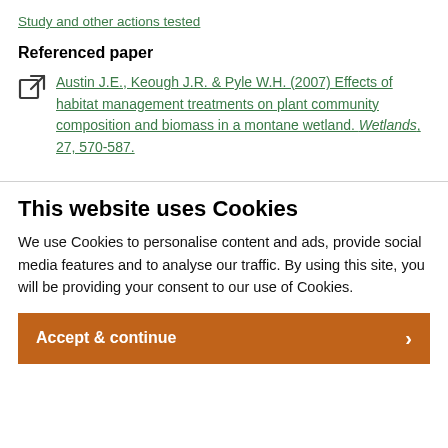Study and other actions tested
Referenced paper
Austin J.E., Keough J.R. & Pyle W.H. (2007) Effects of habitat management treatments on plant community composition and biomass in a montane wetland. Wetlands, 27, 570-587.
This website uses Cookies
We use Cookies to personalise content and ads, provide social media features and to analyse our traffic. By using this site, you will be providing your consent to our use of Cookies.
Accept & continue